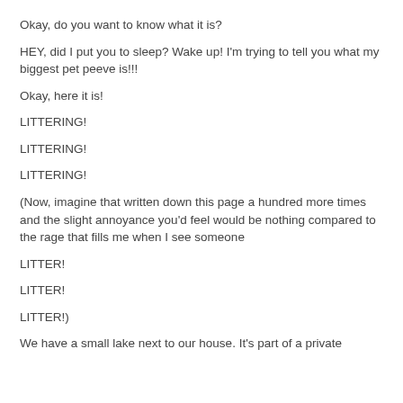Okay, do you want to know what it is?
HEY, did I put you to sleep? Wake up! I'm trying to tell you what my biggest pet peeve is!!!
Okay, here it is!
LITTERING!
LITTERING!
LITTERING!
(Now, imagine that written down this page a hundred more times and the slight annoyance you'd feel would be nothing compared to the rage that fills me when I see someone
LITTER!
LITTER!
LITTER!)
We have a small lake next to our house. It's part of a private